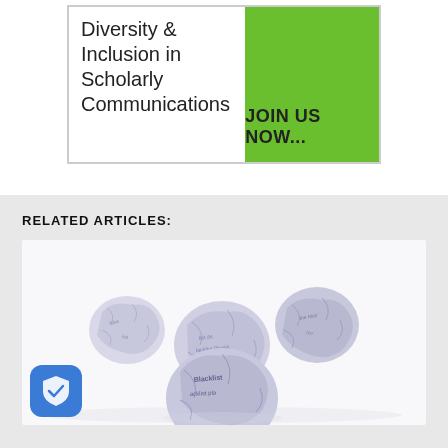[Figure (illustration): Banner for Diversity & Inclusion in Scholarly Communications with green right panel and JOIN US NOW... text]
RELATED ARTICLES:
[Figure (photo): Photo of crumpled paper balls with the word Blacklist printed on them, on a white background]